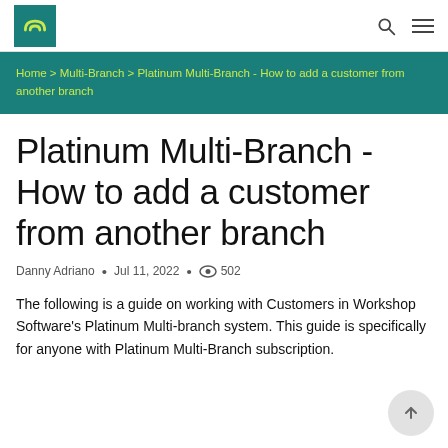Workshop Software logo, search icon, menu icon
Home > Multi-Branch > Platinum Multi-Branch - How to add a customer from another branch
Platinum Multi-Branch - How to add a customer from another branch
Danny Adriano  •  Jul 11, 2022  •  502 views
The following is a guide on working with Customers in Workshop Software's Platinum Multi-branch system. This guide is specifically for anyone with Platinum Multi-Branch subscription.